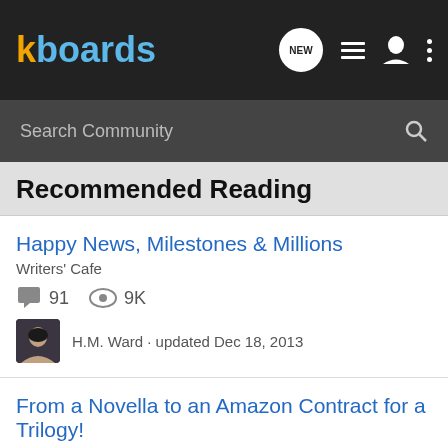kboards
Search Community
Recommended Reading
Happy News, Milestones & Millions
Writers' Cafe
91 replies · 9K views
H.M. Ward · updated Dec 18, 2013
From a Novella to an Amazon Contract for a Trilogy!
Writers' Cafe
88 replies · 6K views
Kay Bratt · updated Jan 3, 2013